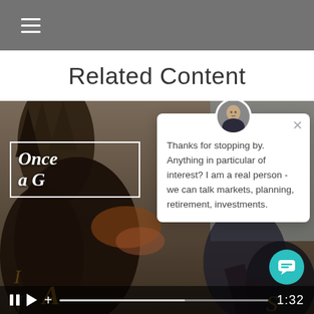Related Content
[Figure (screenshot): Video thumbnail showing a dark fantasy illustration with dragon-like creatures and text overlay reading 'Once Upon a G...' with a chat popup overlay saying 'Thanks for stopping by. Anything in particular of interest? I am a real person - we can talk markets, planning, retirement, investments.' A video progress bar at the bottom shows 1:32 timestamp.]
Thanks for stopping by. Anything in particular of interest? I am a real person - we can talk markets, planning, retirement, investments.